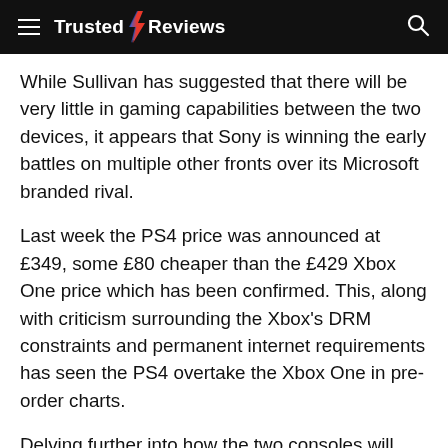Trusted Reviews
While Sullivan has suggested that there will be very little in gaming capabilities between the two devices, it appears that Sony is winning the early battles on multiple other fronts over its Microsoft branded rival.
Last week the PS4 price was announced at £349, some £80 cheaper than the £429 Xbox One price which has been confirmed. This, along with criticism surrounding the Xbox's DRM constraints and permanent internet requirements has seen the PS4 overtake the Xbox One in pre-order charts.
Delving further into how the two consoles will shape up on a purely gaming front, Sullivan added: “I think it's all down to how the development teams use those systems. It’s not necessarily about horsepower, it’s about the game experience you want to create and how you best use those